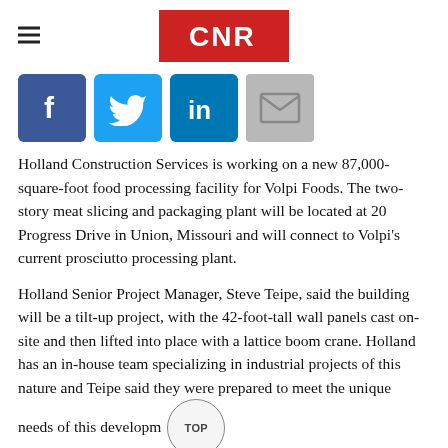CNR (logo)
[Figure (infographic): Social media sharing icons: Facebook, Twitter, LinkedIn, Email]
Holland Construction Services is working on a new 87,000-square-foot food processing facility for Volpi Foods. The two-story meat slicing and packaging plant will be located at 20 Progress Drive in Union, Missouri and will connect to Volpi's current prosciutto processing plant.
Holland Senior Project Manager, Steve Teipe, said the building will be a tilt-up project, with the 42-foot-tall wall panels cast on-site and then lifted into place with a lattice boom crane. Holland has an in-house team specializing in industrial projects of this nature and Teipe said they were prepared to meet the unique needs of this development
"Volpi needed a facility that had plenty of room for their